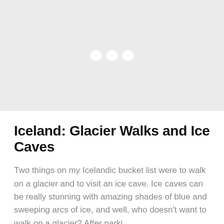[Figure (photo): Loading placeholder with light gray background and three white dots in the center, representing an image carousel or slideshow placeholder.]
Iceland: Glacier Walks and Ice Caves
Two things on my Icelandic bucket list were to walk on a glacier and to visit an ice cave. Ice caves can be really stunning with amazing shades of blue and sweeping arcs of ice, and well, who doesn't want to walk on a glacier? After parking...